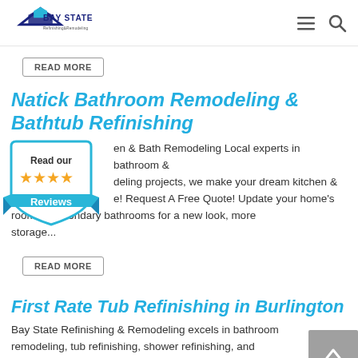Bay State [logo] — hamburger menu icon, search icon
READ MORE
Natick Bathroom Remodeling & Bathtub Refinishing
[Figure (illustration): Blue shield/badge graphic with 'Read our' text, four gold stars, and 'Reviews' label on a blue ribbon banner]
en & Bath Remodeling Local experts in bathroom & deling projects, we make your dream kitchen & e! Request A Free Quote! Update your home's room or secondary bathrooms for a new look, more storage...
READ MORE
First Rate Tub Refinishing in Burlington
Bay State Refinishing & Remodeling excels in bathroom remodeling, tub refinishing, shower refinishing, and everything